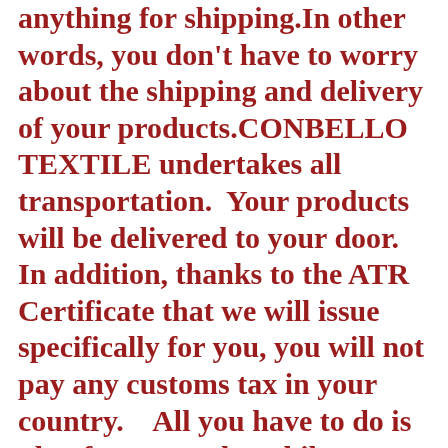anything for shipping.In other words, you don't have to worry about the shipping and delivery of your products.CONBELLO TEXTILE undertakes all transportation.  Your products will be delivered to your door. In addition, thanks to the ATR Certificate that we will issue specifically for you, you will not pay any customs tax in your country.   All you have to do is plan for your sales while you wait for your products. Our shipping system is valid for both sample products and all of your wholesale orders.